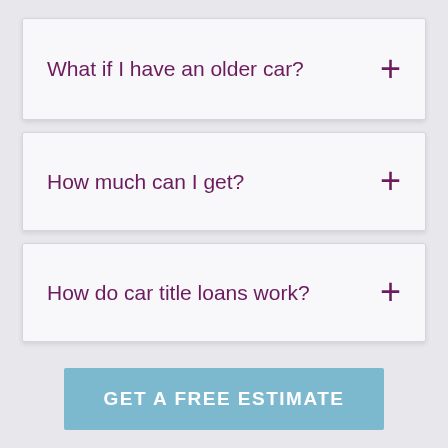What if I have an older car?
How much can I get?
How do car title loans work?
GET A FREE ESTIMATE